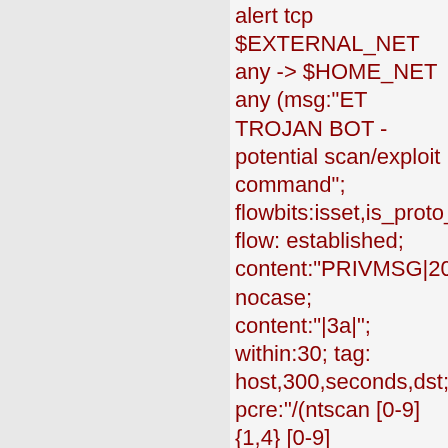alert tcp $EXTERNAL_NET any -> $HOME_NET any (msg:"ET TROJAN BOT - potential scan/exploit command"; flowbits:isset,is_proto_irc; flow: established; content:"PRIVMSG|20|"; nocase; content:"|3a|"; within:30; tag: host,300,seconds,dst; pcre:"/(ntscan [0-9]{1,4} [0-9]{1,4}|dcom\.self|scan\.(start|stop)|scan ([0-9]{1,3}\.[0-9]{1,3})|(advscan|exploited|asc|xs|(webdav|netbios|ntpass|d classtype: trojan-activity; sid: